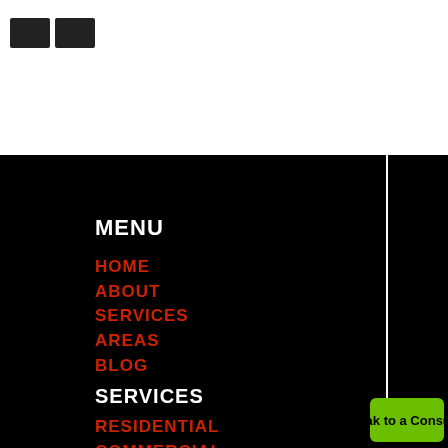[Figure (logo): Company logo partially visible in top white area]
MENU
HOME
ABOUT
SERVICES
AREAS
BLOG
SERVICES
RESIDENTIAL
COMMERCIAL
INTERNATIONAL
STORAGE
REVIEW US
Speak to a Consultant